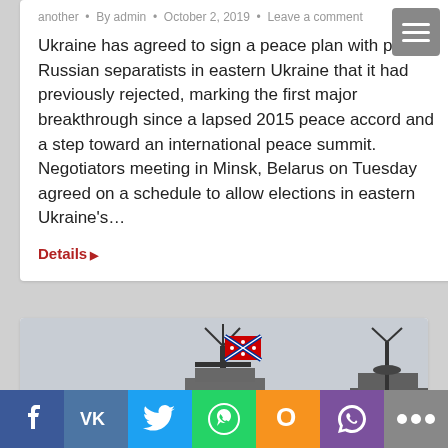another · By admin · October 2, 2019 · Leave a comment
Ukraine has agreed to sign a peace plan with pro-Russian separatists in eastern Ukraine that it had previously rejected, marking the first major breakthrough since a lapsed 2015 peace accord and a step toward an international peace summit. Negotiators meeting in Minsk, Belarus on Tuesday agreed on a schedule to allow elections in eastern Ukraine's…
Details ▶
[Figure (photo): Warship with a Confederate-style flag flying, viewed from the front, with a second vessel partially visible to the right. Gray sky background.]
Facebook | VK | Twitter | WhatsApp | Odnoklassniki | Viber | More